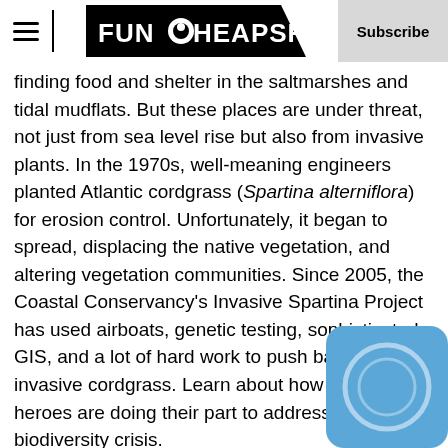FunCheapSF | Subscribe
finding food and shelter in the saltmarshes and tidal mudflats. But these places are under threat, not just from sea level rise but also from invasive plants. In the 1970s, well-meaning engineers planted Atlantic cordgrass (Spartina alterniflora) for erosion control. Unfortunately, it began to spread, displacing the native vegetation, and altering vegetation communities. Since 2005, the Coastal Conservancy's Invasive Spartina Project has used airboats, genetic testing, sophisticated GIS, and a lot of hard work to push back the invasive cordgrass. Learn about how hometown heroes are doing their part to address the global biodiversity crisis.
Toby Rohmer is the Monitoring Program Manager for the San Francisco Estuary Invasive Spartina Project and works for Olofson Environmental, Inc. Toby studied at UC Da[vis where] he did his master thesis on California Ridgway's Rai[l which] included substantial field work and monitoring in S[F Bay].
[Figure (illustration): Blue rounded square overlay with a circular ring graphic, partially covering text in the bottom-right corner.]